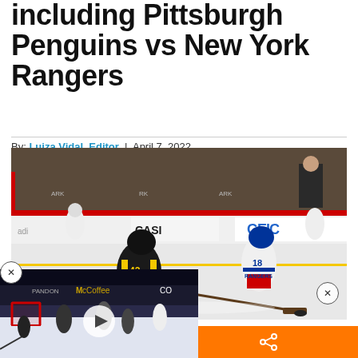including Pittsburgh Penguins vs New York Rangers
By: Luiza Vidal, Editor | April 7, 2022
[Figure (photo): Hockey game photo: Pittsburgh Penguins player #42 in black and yellow uniform skating with puck, New York Rangers player #18 in white uniform in background, arena crowd visible, GEICO and CASI advertisements on boards]
[Figure (photo): Small video thumbnail overlay showing hockey rink scene with play button, partially overlapping main image]